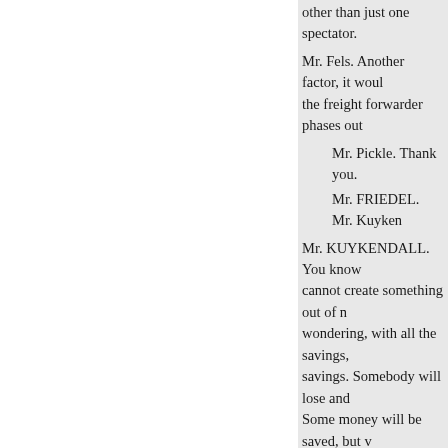other than just one spectator.
Mr. Fels. Another factor, it would the freight forwarder phases out
Mr. Pickle. Thank you.
Mr. FRIEDEL. Mr. Kuyken
Mr. KUYKENDALL. You know cannot create something out of n wondering, with all the savings, savings. Somebody will lose and Some money will be saved, but v
Mr. Fels. You are talking about if
Mr. KUYKENDALL. Any price now getting it? Mr. Fels. In the fi
. Interstate Commerce Commi
Mr. KUYKENDALL. The Inters are talking about money being sa
Mr. Fels. Who is the money
Mr. KUYKENDALL. Yes.
Mr. Fels. In our own case it